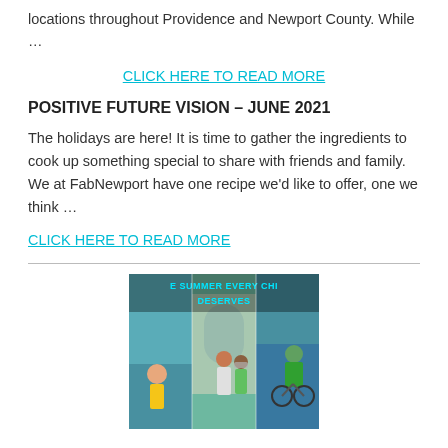locations throughout Providence and Newport County. While …
CLICK HERE TO READ MORE
POSITIVE FUTURE VISION – JUNE 2021
The holidays are here! It is time to gather the ingredients to cook up something special to share with friends and family. We at FabNewport have one recipe we'd like to offer, one we think …
CLICK HERE TO READ MORE
[Figure (photo): Collage image showing 'THE SUMMER EVERY CHILD DESERVES' with photos of children outdoors, sailing, and cycling.]